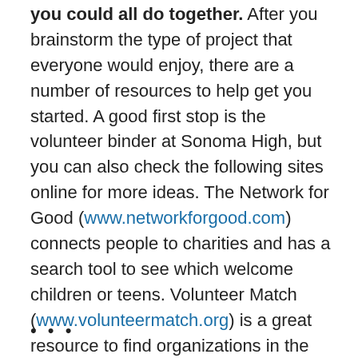you could all do together. After you brainstorm the type of project that everyone would enjoy, there are a number of resources to help get you started. A good first stop is the volunteer binder at Sonoma High, but you can also check the following sites online for more ideas. The Network for Good (www.networkforgood.com) connects people to charities and has a search tool to see which welcome children or teens. Volunteer Match (www.volunteermatch.org) is a great resource to find organizations in the areas that need help. Doing Good Together (www.doinggoodtogether.org) specializes in family-focused ways parents and kids can volunteer together. If your children are all grown or away at school, it can be as simple as entering a benefit 5k run together over the holidays.
• • •